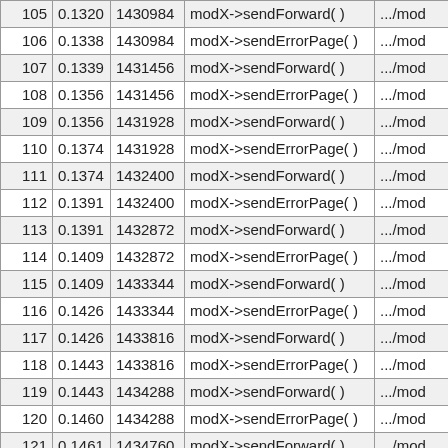|  |  |  |  |  |
| --- | --- | --- | --- | --- |
| 105 | 0.1320 | 1430984 | modX->sendForward( ) | .../mod |
| 106 | 0.1338 | 1430984 | modX->sendErrorPage( ) | .../mod |
| 107 | 0.1339 | 1431456 | modX->sendForward( ) | .../mod |
| 108 | 0.1356 | 1431456 | modX->sendErrorPage( ) | .../mod |
| 109 | 0.1356 | 1431928 | modX->sendForward( ) | .../mod |
| 110 | 0.1374 | 1431928 | modX->sendErrorPage( ) | .../mod |
| 111 | 0.1374 | 1432400 | modX->sendForward( ) | .../mod |
| 112 | 0.1391 | 1432400 | modX->sendErrorPage( ) | .../mod |
| 113 | 0.1391 | 1432872 | modX->sendForward( ) | .../mod |
| 114 | 0.1409 | 1432872 | modX->sendErrorPage( ) | .../mod |
| 115 | 0.1409 | 1433344 | modX->sendForward( ) | .../mod |
| 116 | 0.1426 | 1433344 | modX->sendErrorPage( ) | .../mod |
| 117 | 0.1426 | 1433816 | modX->sendForward( ) | .../mod |
| 118 | 0.1443 | 1433816 | modX->sendErrorPage( ) | .../mod |
| 119 | 0.1443 | 1434288 | modX->sendForward( ) | .../mod |
| 120 | 0.1460 | 1434288 | modX->sendErrorPage( ) | .../mod |
| 121 | 0.1461 | 1434760 | modX->sendForward( ) | .../mod |
| 122 | 0.1478 | 1434760 | modX->sendErrorPage( ) | .../mod |
| 123 | 0.1478 | 1435232 | modX->sendForward( ) | .../mod |
| 124 | 0.1495 | 1435232 | modX->sendErrorPage( ) | .../mod |
| 125 | 0.1495 | 1435704 | modX->sendForward( ) | .../mod |